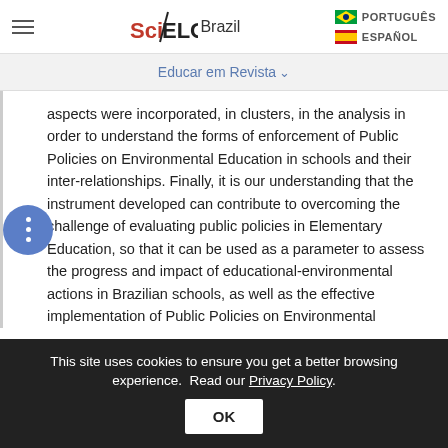SciELO Brazil | PORTUGUÊS | ESPAÑOL
Educar em Revista
aspects were incorporated, in clusters, in the analysis in order to understand the forms of enforcement of Public Policies on Environmental Education in schools and their inter-relationships. Finally, it is our understanding that the instrument developed can contribute to overcoming the challenge of evaluating public policies in Elementary Education, so that it can be used as a parameter to assess the progress and impact of educational-environmental actions in Brazilian schools, as well as the effective implementation of Public Policies on Environmental Education in the
This site uses cookies to ensure you get a better browsing experience. Read our Privacy Policy.